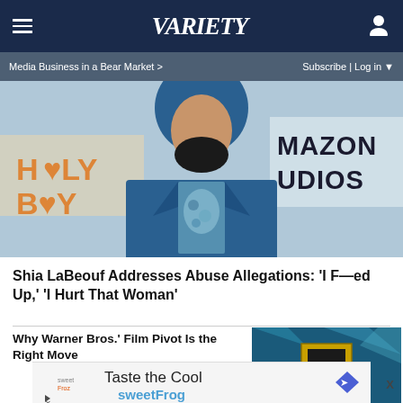≡  VARIETY  👤
Media Business in a Bear Market >   Subscribe | Log in ▼
[Figure (photo): Man with beard wearing blue suit, standing in front of Amazon Studios backdrop with 'Honey Boy' text visible]
Shia LaBeouf Addresses Abuse Allegations: 'I F—ed Up,' 'I Hurt That Woman'
Why Warner Bros.' Film Pivot Is the Right Move
[Figure (photo): Warner Bros. shield logo on blue shattered glass background]
[Figure (photo): Taste the Cool sweetFrog advertisement with diamond logo icon]